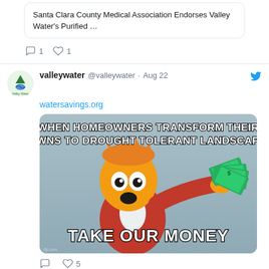Santa Clara County Medical Association Endorses Valley Water's Purified …
1  1 (comment and like counts)
valleywater @valleywater · Aug 22
watersavings.org
[Figure (illustration): Meme image showing animated character (Fry from Futurama) holding money with text 'WHEN HOMEOWNERS TRANSFORM THEIR LAWNS TO DROUGHT TOLERANT LANDSCAPES' at top and 'TAKE OUR MONEY' at bottom]
5 (like count)
View more on Twitter